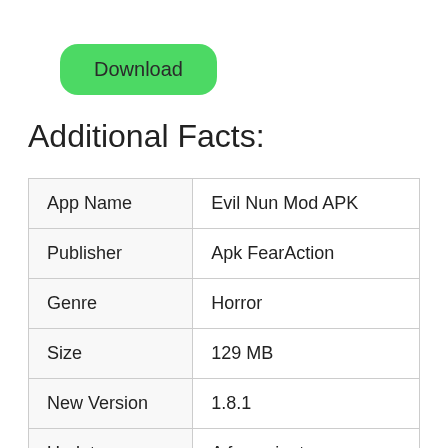[Figure (other): Green rounded rectangle Download button]
Additional Facts:
| App Name | Evil Nun Mod APK |
| Publisher | Apk FearAction |
| Genre | Horror |
| Size | 129 MB |
| New Version | 1.8.1 |
| Update | A few minutes ago |